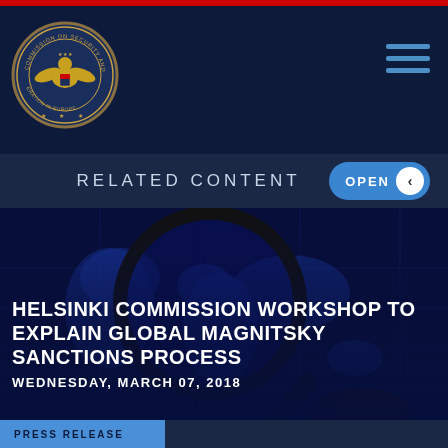[Figure (logo): Commission on Security and Cooperation in Europe seal - gold eagle emblem on dark navy background]
RELATED CONTENT
[Figure (photo): Close-up of a magnifying glass over a blue world map globe, with a hand visible at bottom right]
HELSINKI COMMISSION WORKSHOP TO EXPLAIN GLOBAL MAGNITSKY SANCTIONS PROCESS
WEDNESDAY, MARCH 07, 2018
PRESS RELEASE